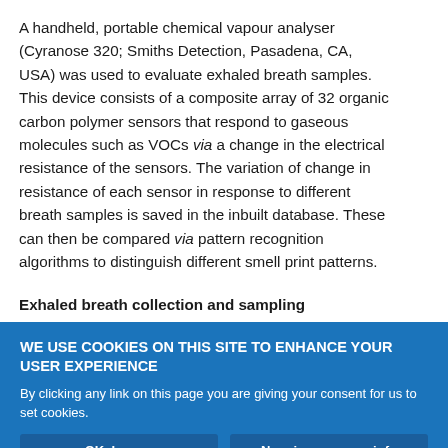A handheld, portable chemical vapour analyser (Cyranose 320; Smiths Detection, Pasadena, CA, USA) was used to evaluate exhaled breath samples. This device consists of a composite array of 32 organic carbon polymer sensors that respond to gaseous molecules such as VOCs via a change in the electrical resistance of the sensors. The variation of change in resistance of each sensor in response to different breath samples is saved in the inbuilt database. These can then be compared via pattern recognition algorithms to distinguish different smell print patterns.
Exhaled breath collection and sampling
WE USE COOKIES ON THIS SITE TO ENHANCE YOUR USER EXPERIENCE
By clicking any link on this page you are giving your consent for us to set cookies.